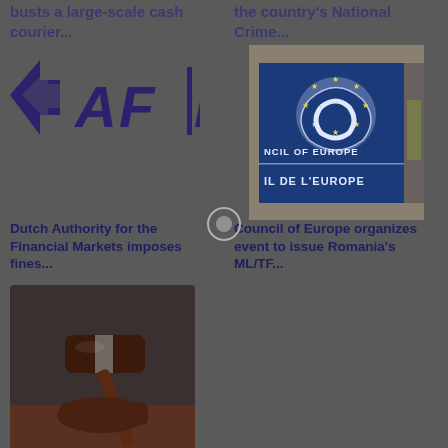busts a large-scale cash courier...
the country's National Crime...
[Figure (logo): AFI (Alliance for Financial Inclusion) logo with arrow and vertical bar]
[Figure (photo): Council of Europe sign showing logo and text CONSEIL DE L'EUROPE / COUNCIL OF EUROPE]
Dutch Authority for the Financial Markets imposes fines...
Council of Europe organizes event to issue Romania's ML/TF...
[Figure (photo): A judge's gavel on a wooden block]